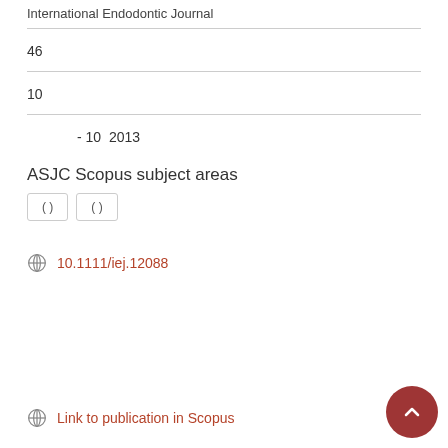International Endodontic Journal
46
10
- 10  2013
ASJC Scopus subject areas
( )  ( )
10.1111/iej.12088
Link to publication in Scopus